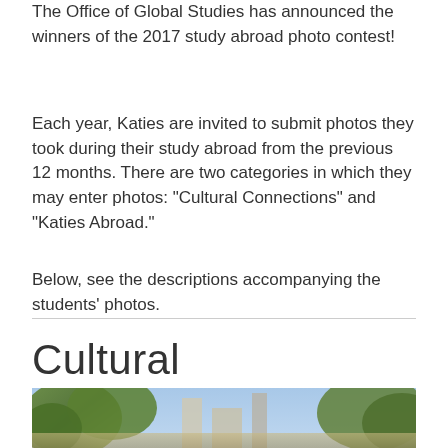The Office of Global Studies has announced the winners of the 2017 study abroad photo contest!
Each year, Katies are invited to submit photos they took during their study abroad from the previous 12 months. There are two categories in which they may enter photos: "Cultural Connections" and "Katies Abroad."
Below, see the descriptions accompanying the students' photos.
Cultural Connections
[Figure (photo): Photograph strip at bottom of page showing outdoor scene, partially visible]